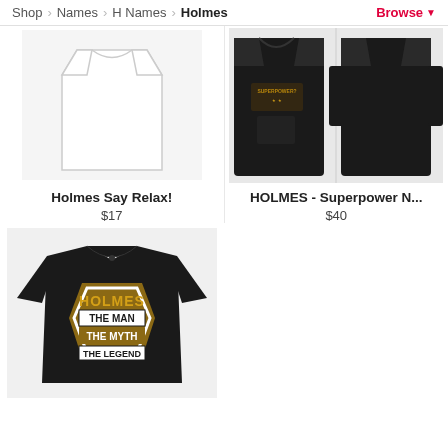Shop > Names > H Names > Holmes   Browse
[Figure (photo): White women's tank top / t-shirt product photo on white background]
Holmes Say Relax!
$17
[Figure (photo): Black hoodie with HOLMES SUPERPOWER text and graphic design, shown front and back]
HOLMES - Superpower N...
$40
[Figure (photo): Black t-shirt with HOLMES THE MAN THE MYTH THE LEGEND graphic design in gold and white block letters]